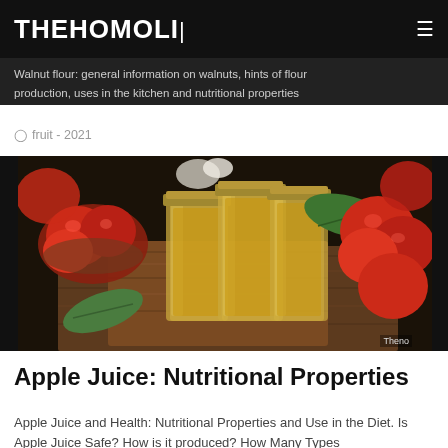THEHOMOLI
Walnut flour: general information on walnuts, hints of flour production, uses in the kitchen and nutritional properties
fruit - 2021
[Figure (photo): Photo of apple juice in glass mason jars surrounded by red apples on a wooden surface with green leaves]
Apple Juice: Nutritional Properties
Apple Juice and Health: Nutritional Properties and Use in the Diet. Is Apple Juice Safe? How is it produced? How Many Types